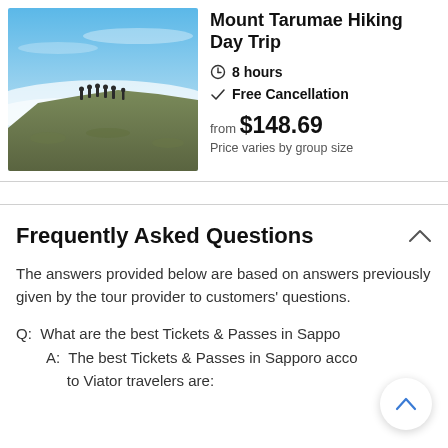[Figure (photo): Hikers walking along a ridge under a blue sky with clouds below, on Mount Tarumae.]
Mount Tarumae Hiking Day Trip
8 hours
Free Cancellation
from $148.69
Price varies by group size
Frequently Asked Questions
The answers provided below are based on answers previously given by the tour provider to customers' questions.
Q:  What are the best Tickets & Passes in Sapporo?
A:  The best Tickets & Passes in Sapporo acco to Viator travelers are: